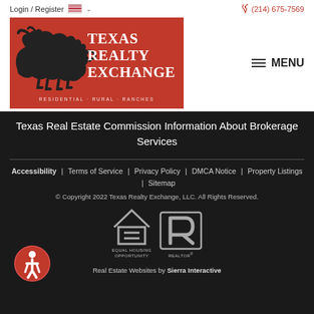Login / Register  (214) 675-7569
[Figure (logo): Texas Realty Exchange logo: red background with black bull silhouette and white text reading TEXAS REALTY EXCHANGE, RESIDENTIAL · RURAL · RANCHES]
Texas Real Estate Commission Information About Brokerage Services
Accessibility | Terms of Service | Privacy Policy | DMCA Notice | Property Listings | Sitemap
© Copyright 2022 Texas Realty Exchange, LLC. All Rights Reserved.
Real Estate Websites by Sierra Interactive